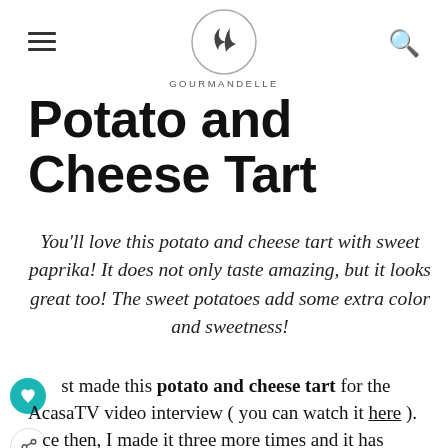GOURMANDELLE
Potato and Cheese Tart
You'll love this potato and cheese tart with sweet paprika! It does not only taste amazing, but it looks great too! The sweet potatoes add some extra color and sweetness!
Just made this potato and cheese tart for the AcasaTV video interview ( you can watch it here ). Since then, I made it three more times and it has become one of my favorite recipes! As most of my